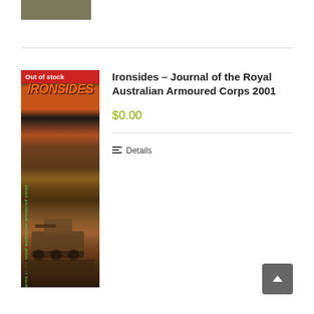[Figure (photo): Partial top of a book cover image, cropped at the top of the page]
[Figure (photo): Book cover of Ironsides – Journal of the Royal Australian Armoured Corps 2001, showing a military armoured vehicle in a wooded setting. Has 'Out of stock' badge in red at top left.]
Ironsides – Journal of the Royal Australian Armoured Corps 2001
$0.00
Details